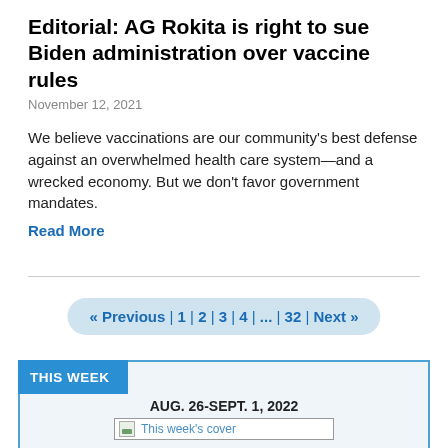Editorial: AG Rokita is right to sue Biden administration over vaccine rules
November 12, 2021
We believe vaccinations are our community's best defense against an overwhelmed health care system—and a wrecked economy. But we don't favor government mandates.
Read More
« Previous | 1 | 2 | 3 | 4 | ... | 32 | Next »
THIS WEEK
AUG. 26-SEPT. 1, 2022
[Figure (other): This week's cover image placeholder]
Digital Edition